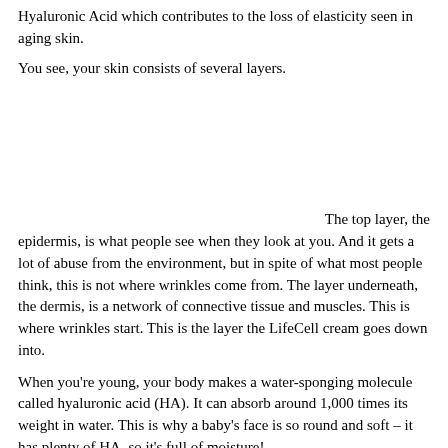Hyaluronic Acid which contributes to the loss of elasticity seen in aging skin.
You see, your skin consists of several layers.
The top layer, the epidermis, is what people see when they look at you. And it gets a lot of abuse from the environment, but in spite of what most people think, this is not where wrinkles come from. The layer underneath, the dermis, is a network of connective tissue and muscles. This is where wrinkles start. This is the layer the LifeCell cream goes down into.
When you're young, your body makes a water-sponging molecule called hyaluronic acid (HA). It can absorb around 1,000 times its weight in water. This is why a baby's face is so round and soft – it has plenty of HA, so it's full of moisture!